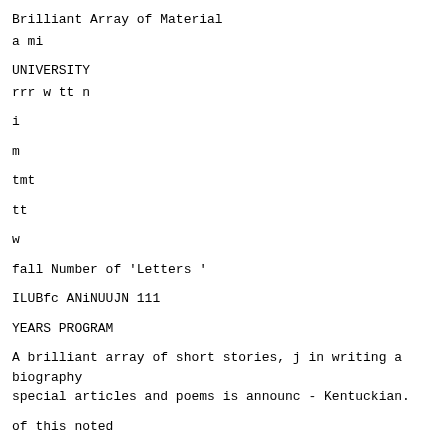Brilliant Array of Material
a mi
UNIVERSITY
rrr w tt n
i
m
tmt
tt
w
fall Number of 'Letters '
ILUBfc ANiNUUJN 111
YEARS PROGRAM
A brilliant array of short stories, j in writing a biography
special articles and poems is announc - Kentuckian.
of this noted
Men and Fifty Women eel lor the tall issue ot
"letters," um- Our Fractured Universe," by A